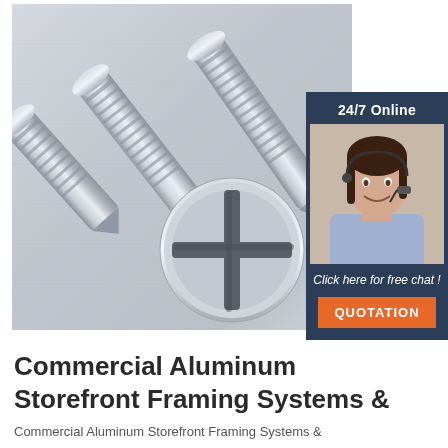[Figure (photo): Close-up photo of several silver Phillips head screws/self-tapping screws arranged diagonally on a grey metallic surface. One large screw is shown from the top revealing the Phillips cross head. An overlaid chat widget on the right shows a customer service agent with headset and '24/7 Online' text, 'Click here for free chat!' text, and an orange QUOTATION button.]
Commercial Aluminum Storefront Framing Systems &
Commercial Aluminum Storefront Framing Systems &